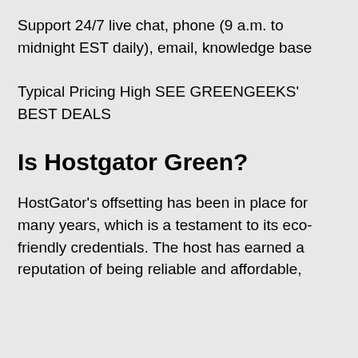Support 24/7 live chat, phone (9 a.m. to midnight EST daily), email, knowledge base
Typical Pricing High SEE GREENGEEKS' BEST DEALS
Is Hostgator Green?
HostGator's offsetting has been in place for many years, which is a testament to its eco-friendly credentials. The host has earned a reputation of being reliable and affordable,